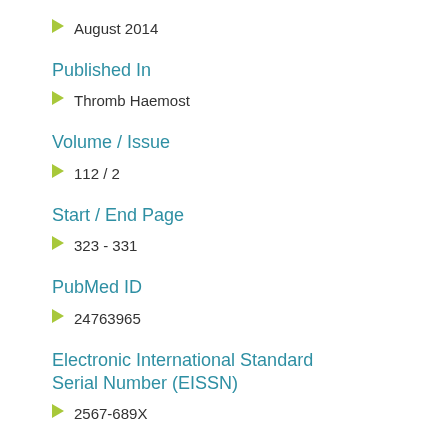August 2014
Published In
Thromb Haemost
Volume / Issue
112 / 2
Start / End Page
323 - 331
PubMed ID
24763965
Electronic International Standard Serial Number (EISSN)
2567-689X
Digital Object Identifier (DOI)